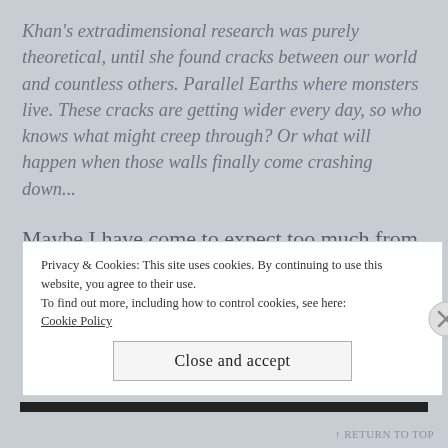Khan's extradimensional research was purely theoretical, until she found cracks between our world and countless others. Parallel Earths where monsters live. These cracks are getting wider every day, so who knows what might creep through? Or what will happen when those walls finally come crashing down...
Maybe I have come to expect too much from Tchaikovsky because I usually enjoy his works quite a bit. Children of Time is one of the best
Privacy & Cookies: This site uses cookies. By continuing to use this website, you agree to their use.
To find out more, including how to control cookies, see here:
Cookie Policy
Close and accept